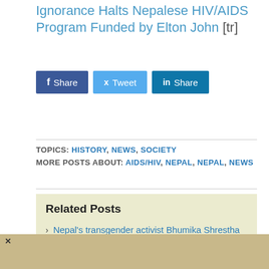Ignorance Halts Nepalese HIV/AIDS Program Funded by Elton John [tr]
Share | Tweet | Share (social buttons)
TOPICS: HISTORY, NEWS, SOCIETY
MORE POSTS ABOUT: AIDS/HIV, NEPAL, NEPAL, NEWS
Related Posts
Nepal's transgender activist Bhumika Shrestha receives international recognition
Russia Blocks Facebook, Accusing it of Restricting Access to Russian Media: